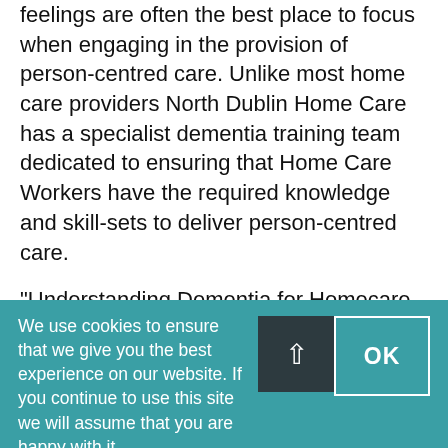feelings are often the best place to focus when engaging in the provision of person-centred care. Unlike most home care providers North Dublin Home Care has a specialist dementia training team dedicated to ensuring that Home Care Workers have the required knowledge and skill-sets to deliver person-centred care.
“Understanding Dementia for Homecare Workers”, is a three day training course, produced in partnership between Ireland’s National Dementia Office and DCU. North Dublin Home Care’s qualified dementia facilitators deliver this training to all Home Care Workers to ensure the adequate delivery of person-centred dementia care.
We use cookies to ensure that we give you the best experience on our website. If you continue to use this site we will assume that you are happy with it.